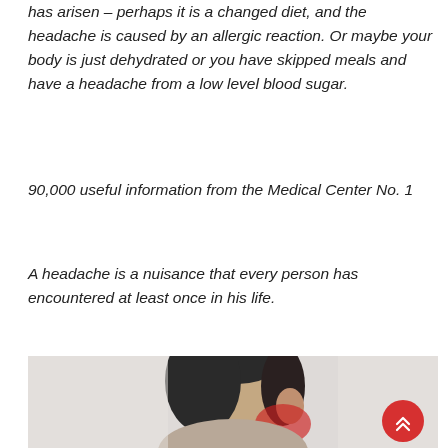has arisen – perhaps it is a changed diet, and the headache is caused by an allergic reaction. Or maybe your body is just dehydrated or you have skipped meals and have a headache from a low level blood sugar.
90,000 useful information from the Medical Center No. 1
A headache is a nuisance that every person has encountered at least once in his life.
[Figure (photo): A person holding the back of their neck/head in pain, with a red highlighted area near the ear/neck suggesting pain location. A red circular scroll-to-top button is visible in the lower right.]